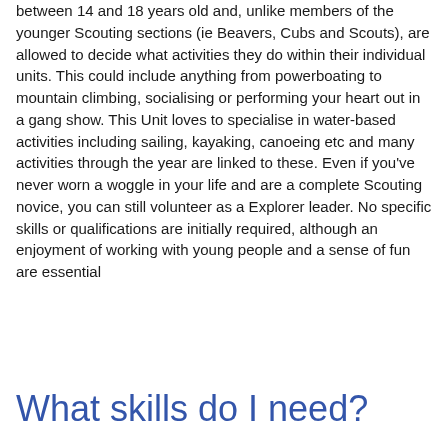between 14 and 18 years old and, unlike members of the younger Scouting sections (ie Beavers, Cubs and Scouts), are allowed to decide what activities they do within their individual units. This could include anything from powerboating to mountain climbing, socialising or performing your heart out in a gang show. This Unit loves to specialise in water-based activities including sailing, kayaking, canoeing etc and many activities through the year are linked to these. Even if you've never worn a woggle in your life and are a complete Scouting novice, you can still volunteer as a Explorer leader. No specific skills or qualifications are initially required, although an enjoyment of working with young people and a sense of fun are essential
What skills do I need?